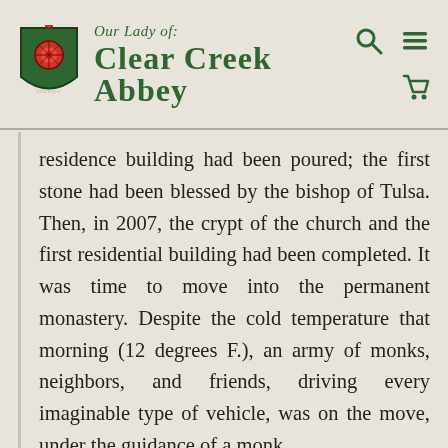Our Lady of: Clear Creek Abbey
residence building had been poured; the first stone had been blessed by the bishop of Tulsa. Then, in 2007, the crypt of the church and the first residential building had been completed. It was time to move into the permanent monastery. Despite the cold temperature that morning (12 degrees F.), an army of monks, neighbors, and friends, driving every imaginable type of vehicle, was on the move, under the guidance of a monk